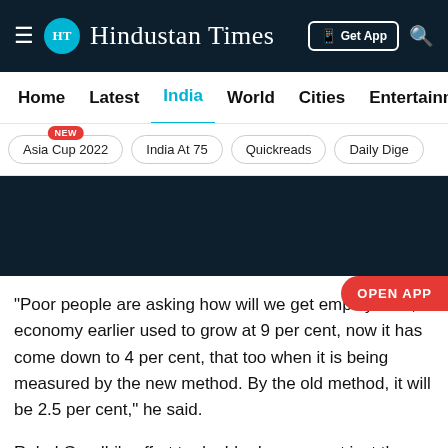HT Hindustan Times
Home | Latest | India | World | Cities | Entertainment
Asia Cup 2022 NEW | India At 75 | Quickreads | Daily Dige
“Poor people are asking how will we get employment, economy earlier used to grow at 9 per cent, now it has come down to 4 per cent, that too when it is being measured by the new method. By the old method, it will be 2.5 per cent,” he said.
Rahul Gandhi’s effort to double down on not just the NRC but also the NPR is seen as hardening of the Congress’ stand.